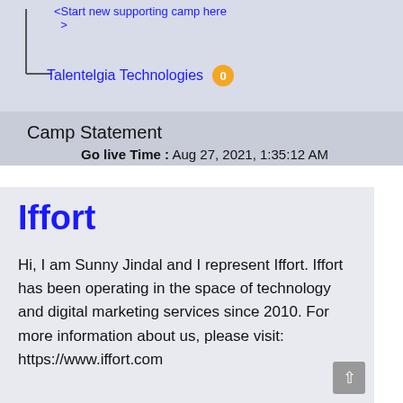[Figure (screenshot): Tree diagram partial showing a node link with '<Start new supporting camp here >' text and 'Talentelgia Technologies' with orange badge showing 0]
Camp Statement
Go live Time : Aug 27, 2021, 1:35:12 AM
Iffort
Hi, I am Sunny Jindal and I represent Iffort. Iffort has been operating in the space of technology and digital marketing services since 2010. For more information about us, please visit: https://www.iffort.com